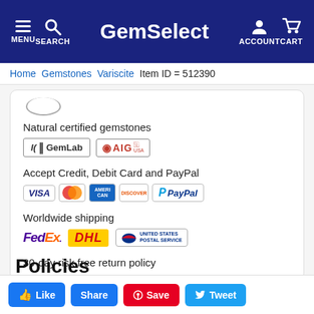GemSelect — MENU SEARCH ACCOUNT CART
Home > Gemstones > Variscite > Item ID = 512390
Natural certified gemstones
[Figure (logo): GemLab and AIG certification logos]
Accept Credit, Debit Card and PayPal
[Figure (logo): Payment logos: Visa, Mastercard, Amex, Discover, PayPal]
Worldwide shipping
[Figure (logo): Shipping logos: FedEx, DHL, United States Postal Service]
30-day risk free return policy
Policies
Like  Share  Save  Tweet